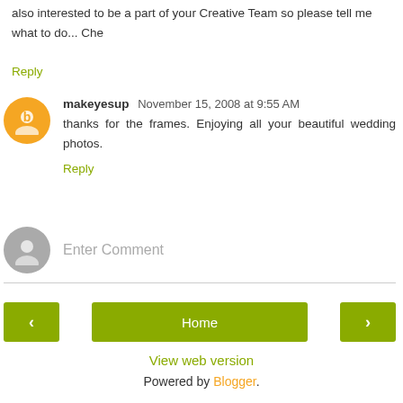also interested to be a part of your Creative Team so please tell me what to do... Che
Reply
makeyesup  November 15, 2008 at 9:55 AM
thanks for the frames. Enjoying all your beautiful wedding photos.
Reply
Enter Comment
Home
View web version
Powered by Blogger.